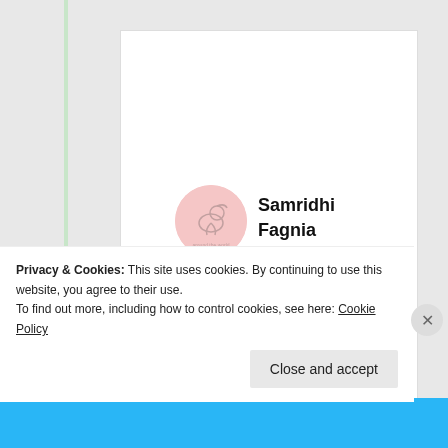[Figure (logo): Circular pink avatar/logo with an illustrated bird or duck outline and 'around the world' text below it]
Samridhi Fagnia
30th Jun 2021 at 11:11 am
Hope you will like my blog do visit it
Privacy & Cookies: This site uses cookies. By continuing to use this website, you agree to their use.
To find out more, including how to control cookies, see here: Cookie Policy